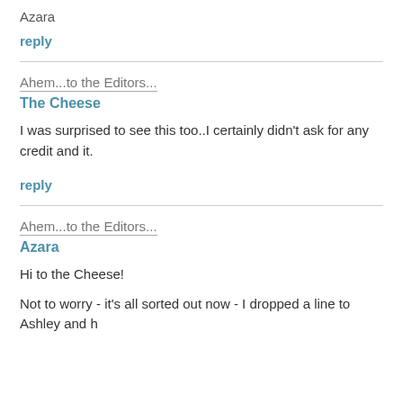Azara
reply
Ahem...to the Editors...
The Cheese
I was surprised to see this too..I certainly didn't ask for any credit and it.
reply
Ahem...to the Editors...
Azara
Hi to the Cheese!
Not to worry - it's all sorted out now - I dropped a line to Ashley and h